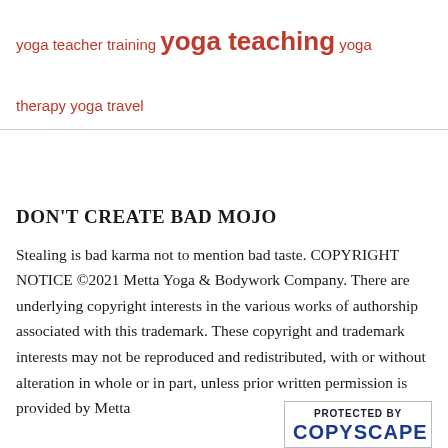yoga teacher training yoga teaching yoga therapy yoga travel
DON'T CREATE BAD MOJO
Stealing is bad karma not to mention bad taste. COPYRIGHT NOTICE ©2021 Metta Yoga & Bodywork Company. There are underlying copyright interests in the various works of authorship associated with this trademark. These copyright and trademark interests may not be reproduced and redistributed, with or without alteration in whole or in part, unless prior written permission is provided by Metta
[Figure (other): PROTECTED BY COPYSCAPE badge/seal]